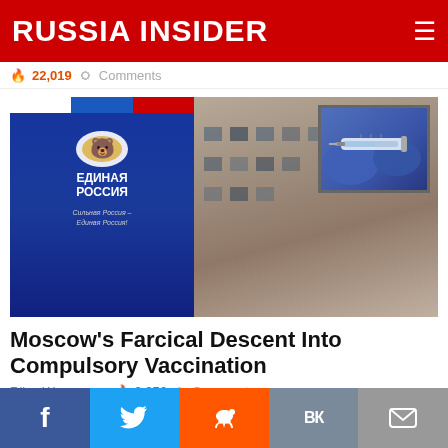RUSSIA INSIDER
🔥 22,019  💬 Comments
[Figure (photo): Photo of a dilapidated Soviet-era building with a large United Russia (Единая Россия) political party banner on the left side featuring a bear emblem and Russian tricolor stripes. A small inset photo in the upper right shows a gloved hand holding a syringe.]
Moscow's Farcical Descent Into Compulsory Vaccination
Riley Waggaman 🔥 3,856 💬 Comments